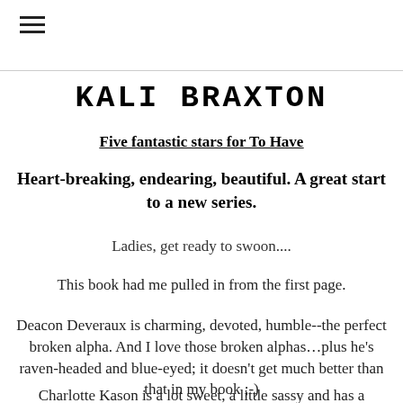KALI BRAXTON
Five fantastic stars for To Have
Heart-breaking, endearing, beautiful. A great start to a new series.
Ladies, get ready to swoon....
This book had me pulled in from the first page.
Deacon Deveraux is charming, devoted, humble--the perfect broken alpha. And I love those broken alphas…plus he's raven-headed and blue-eyed; it doesn't get much better than that in my book ;-)
Charlotte Kason is a lot sweet, a little sassy and has a